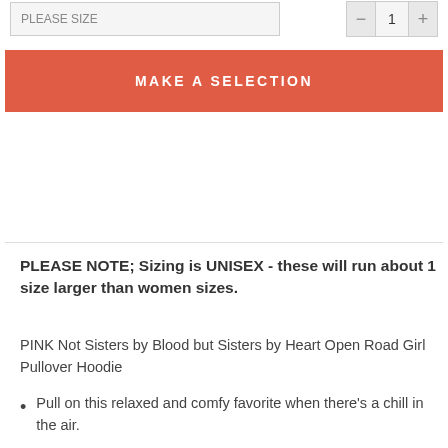[Figure (screenshot): Size selector dropdown and quantity box UI elements at top of page]
MAKE A SELECTION
PLEASE NOTE; Sizing is UNISEX - these will run about 1 size larger than women sizes.
PINK Not Sisters by Blood but Sisters by Heart Open Road Girl Pullover Hoodie
Pull on this relaxed and comfy favorite when there's a chill in the air.